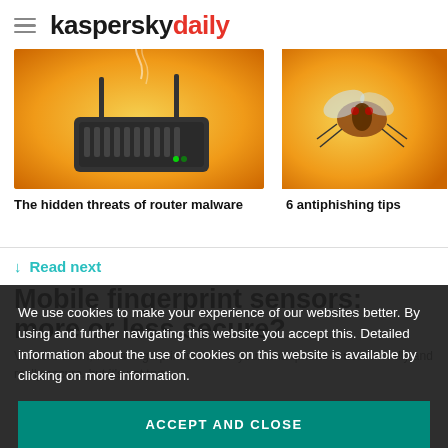kaspersky daily
[Figure (photo): Router with smoke on orange/yellow background]
The hidden threats of router malware
[Figure (photo): Insect on orange background (partial, right side)]
6 antiphishing tips
↓ Read next
Mobile fingerprint sensors: more or less secure?
Vendors claim, that a fingerprint sensor in your smartphone is user-friendly and really secure. but it's not true.
We use cookies to make your experience of our websites better. By using and further navigating this website you accept this. Detailed information about the use of cookies on this website is available by clicking on more information.
ACCEPT AND CLOSE